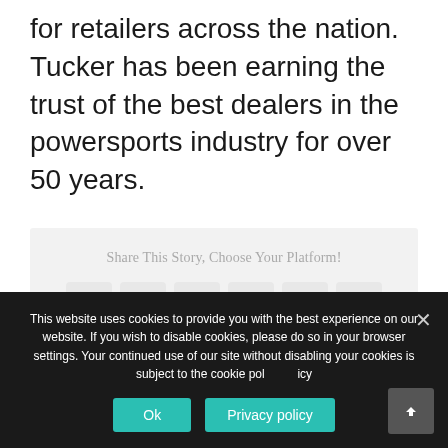for retailers across the nation. Tucker has been earning the trust of the best dealers in the powersports industry for over 50 years.
Share This Story, Choose Your Platform!
[Figure (infographic): Social media share icons: Facebook, Twitter, Reddit, LinkedIn, Pinterest, VK — each in a rounded square button]
This website uses cookies to provide you with the best experience on our website. If you wish to disable cookies, please do so in your browser settings. Your continued use of our site without disabling your cookies is subject to the cookie policy.